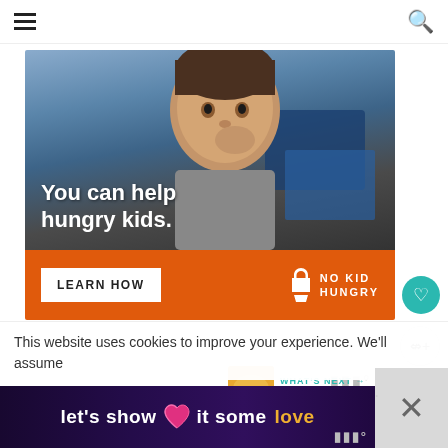≡   🔍
[Figure (photo): No Kid Hungry advertisement banner showing a young child eating. Orange bottom bar with 'LEARN HOW' button and No Kid Hungry logo. Text overlay: 'You can help hungry kids.']
This website uses cookies to improve your experience. We'll assume
[Figure (infographic): Bottom advertisement banner with dark purple gradient background showing text: let's show it some love]